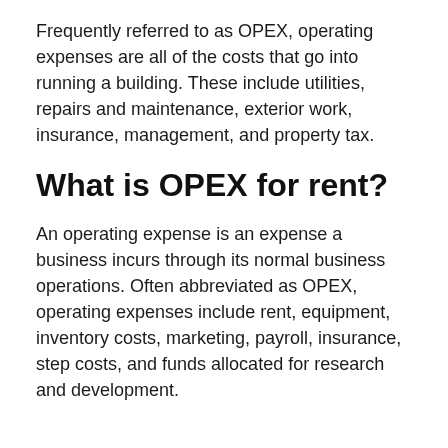Frequently referred to as OPEX, operating expenses are all of the costs that go into running a building. These include utilities, repairs and maintenance, exterior work, insurance, management, and property tax.
What is OPEX for rent?
An operating expense is an expense a business incurs through its normal business operations. Often abbreviated as OPEX, operating expenses include rent, equipment, inventory costs, marketing, payroll, insurance, step costs, and funds allocated for research and development.